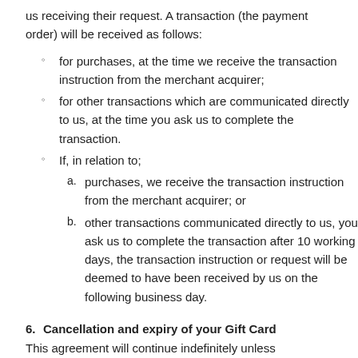us receiving their request. A transaction (the payment order) will be received as follows:
for purchases, at the time we receive the transaction instruction from the merchant acquirer;
for other transactions which are communicated directly to us, at the time you ask us to complete the transaction.
If, in relation to; a. purchases, we receive the transaction instruction from the merchant acquirer; or b. other transactions communicated directly to us, you ask us to complete the transaction after 10 working days, the transaction instruction or request will be deemed to have been received by us on the following business day.
6. Cancellation and expiry of your Gift Card
This agreement will continue indefinitely unless